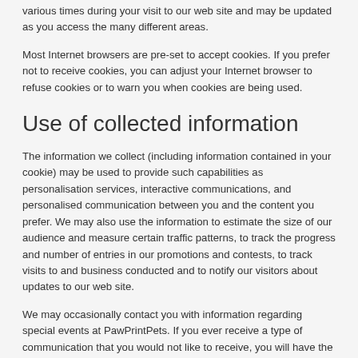various times during your visit to our web site and may be updated as you access the many different areas.
Most Internet browsers are pre-set to accept cookies. If you prefer not to receive cookies, you can adjust your Internet browser to refuse cookies or to warn you when cookies are being used.
Use of collected information
The information we collect (including information contained in your cookie) may be used to provide such capabilities as personalisation services, interactive communications, and personalised communication between you and the content you prefer. We may also use the information to estimate the size of our audience and measure certain traffic patterns, to track the progress and number of entries in our promotions and contests, to track visits to and business conducted and to notify our visitors about updates to our web site.
We may occasionally contact you with information regarding special events at PawPrintPets. If you ever receive a type of communication that you would not like to receive, you will have the option to unsubscribe from such communication (usually at the bottom of the page).